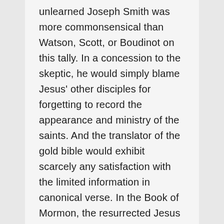unlearned Joseph Smith was more commonsensical than Watson, Scott, or Boudinot on this tally. In a concession to the skeptic, he would simply blame Jesus' other disciples for forgetting to record the appearance and ministry of the saints. And the translator of the gold bible would exhibit scarcely any satisfaction with the limited information in canonical verse. In the Book of Mormon, the resurrected Jesus would appear to the Amerindians, not for the sake of rhetorical device, but in an alternate reality of salvation history, while deists